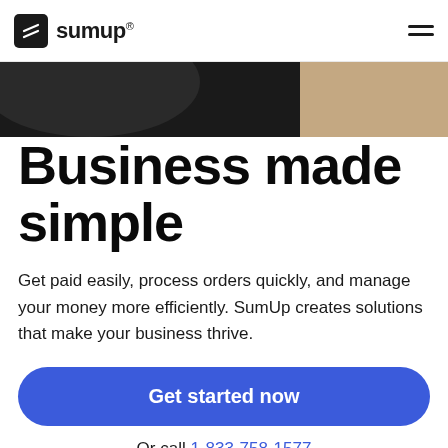sumup®
[Figure (photo): Dark background hero image, partially showing a dark object and light beige area, cropped at top of content section]
Business made simple
Get paid easily, process orders quickly, and manage your money more efficiently. SumUp creates solutions that make your business thrive.
Get started now
Or call 1-833-758-1577